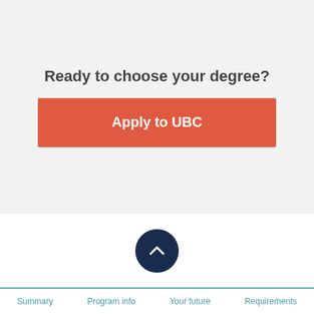Ready to choose your degree?
Apply to UBC
[Figure (other): Dark navy circle with white upward chevron arrow icon, used as a scroll-to-top button]
Summary   Program info   Your future   Requirements